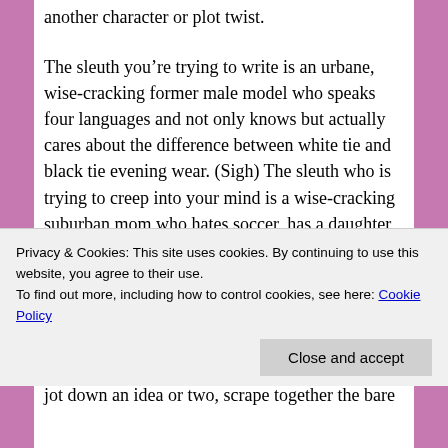another character or plot twist.
The sleuth you’re trying to write is an urbane, wise-cracking former male model who speaks four languages and not only knows but actually cares about the difference between white tie and black tie evening wear. (Sigh) The sleuth who is trying to creep into your mind is a wise-cracking suburban mom who hates soccer, has a daughter mad for ballet and who, through her knowledge of some arcane middle-class suburban pastime, deduces the killer who has been decimating the
Privacy & Cookies: This site uses cookies. By continuing to use this website, you agree to their use.
To find out more, including how to control cookies, see here: Cookie Policy
Close and accept
jot down an idea or two, scrape together the bare